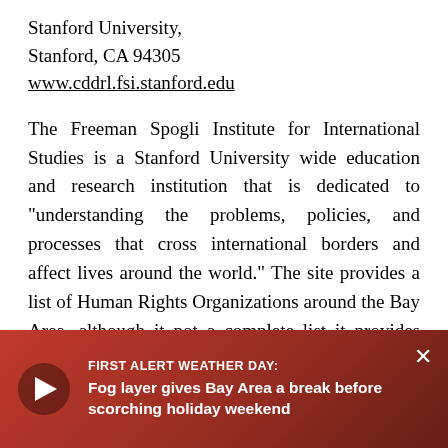Stanford University,
Stanford, CA 94305
www.cddrl.fsi.stanford.edu
The Freeman Spogli Institute for International Studies is a Stanford University wide education and research institution that is dedicated to "understanding the problems, policies, and processes that cross international borders and affect lives around the world." The site provides a list of Human Rights Organizations around the Bay Area, although it not a complete list it provides links to many organizations so you can make contact and inquire about ways to help. Listed organizations include: ACCESS/Women's H... America... Civil ... Immigrants' Rights...
[Figure (screenshot): Red overlay banner showing a news alert: 'FIRST ALERT WEATHER DAY: Fog layer gives Bay Area a break before scorching holiday weekend' with a play button on the left and an X close button on the right.]